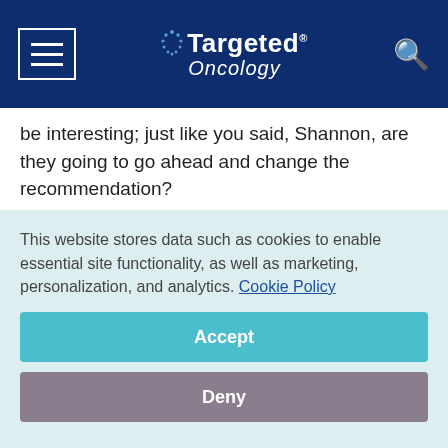Targeted Oncology
be interesting; just like you said, Shannon, are they going to go ahead and change the recommendation?
Shannon Westin, MD: Revise that, yes.
Thomas C. Krivak, MD: What this does is exactly what you guys have said. We have lots of options
This website stores data such as cookies to enable essential site functionality, as well as marketing, personalization, and analytics. Cookie Policy
Accept
Deny